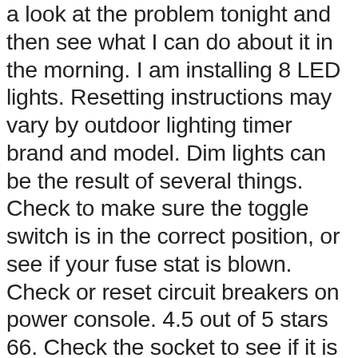a look at the problem tonight and then see what I can do about it in the morning. I am installing 8 LED lights. Resetting instructions may vary by outdoor lighting timer brand and model. Dim lights can be the result of several things. Check to make sure the toggle switch is in the correct position, or see if your fuse stat is blown. Check or reset circuit breakers on power console. 4.5 out of 5 stars 66. Check the socket to see if it is giving power. Press and hold both arrow buttons for three seconds while the timer is in Clock mode to turn the Daylight Savings Timer feature on or off. The timer switching option provides an automatic method of turning your lighting system on and off at preselected intervals. Lightkiwi Q6914 Mechanical Timer for Low Voltage Landscape Lighting Transformer. FREE Shipping on orders over $25 shipped by Amazon. The most likely reason all of your lights are out is there is no power coming from the transformer to the lights. Following a few steps will